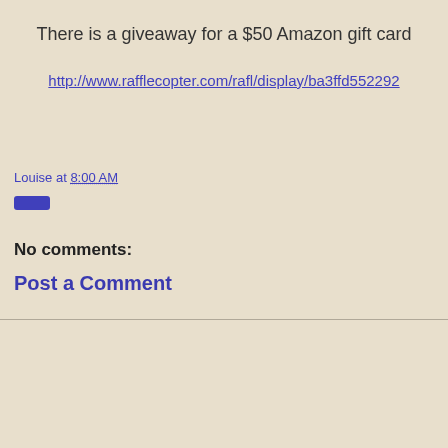There is a giveaway for a $50 Amazon gift card
http://www.rafflecopter.com/rafl/display/ba3ffd552292
Louise at 8:00 AM
Share
No comments:
Post a Comment
‹
Home
›
View web version
Powered by Blogger.